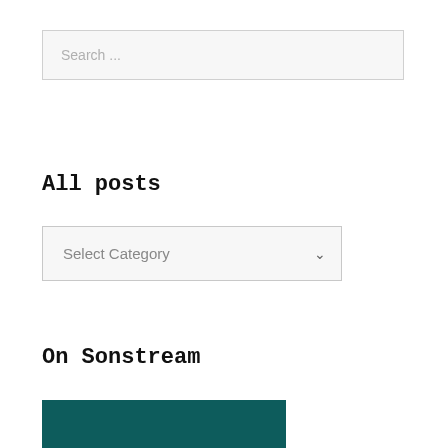Search ...
All posts
Select Category
On Sonstream
[Figure (other): Teal/dark green colored image block at bottom of page]